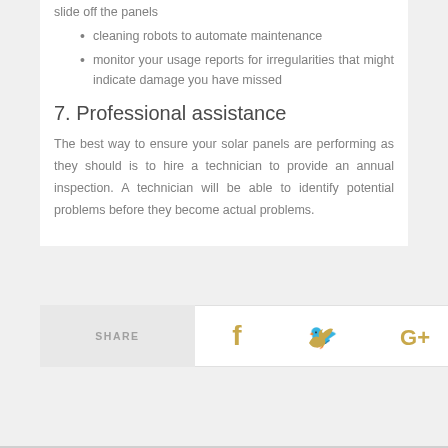slide off the panels
cleaning robots to automate maintenance
monitor your usage reports for irregularities that might indicate damage you have missed
7. Professional assistance
The best way to ensure your solar panels are performing as they should is to hire a technician to provide an annual inspection. A technician will be able to identify potential problems before they become actual problems.
[Figure (infographic): Share bar with SHARE label and Facebook, Twitter, Google+ icons in gold/yellow color]